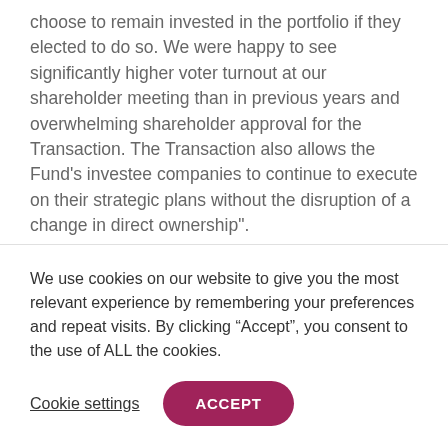choose to remain invested in the portfolio if they elected to do so. We were happy to see significantly higher voter turnout at our shareholder meeting than in previous years and overwhelming shareholder approval for the Transaction. The Transaction also allows the Fund's investee companies to continue to execute on their strategic plans without the disruption of a change in direct ownership".
As part of the Transaction and as previously
We use cookies on our website to give you the most relevant experience by remembering your preferences and repeat visits. By clicking “Accept”, you consent to the use of ALL the cookies.
Cookie settings
ACCEPT